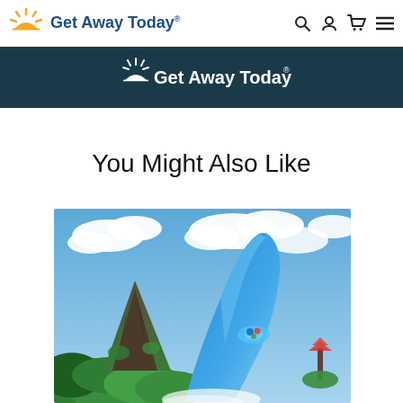Get Away Today
[Figure (logo): Get Away Today white logo with sun icon on dark teal banner background]
You Might Also Like
[Figure (photo): Theme park photo showing a water slide with a blue wave structure with people riding inner tubes, and a volcano-like mountain structure (Volcano Bay) to the left, with cloudy blue sky]